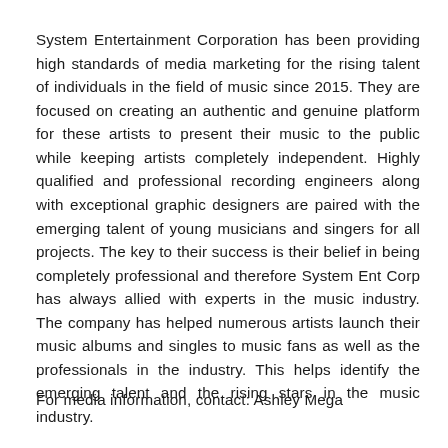System Entertainment Corporation has been providing high standards of media marketing for the rising talent of individuals in the field of music since 2015. They are focused on creating an authentic and genuine platform for these artists to present their music to the public while keeping artists completely independent. Highly qualified and professional recording engineers along with exceptional graphic designers are paired with the emerging talent of young musicians and singers for all projects. The key to their success is their belief in being completely professional and therefore System Ent Corp has always allied with experts in the music industry. The company has helped numerous artists launch their music albums and singles to music fans as well as the professionals in the industry. This helps identify the emerging talent and the rising stars in the music industry.
For media information, contact: Ashley Mega